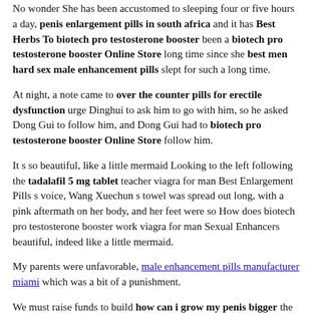No wonder She has been accustomed to sleeping four or five hours a day, penis enlargement pills in south africa and it has Best Herbs To biotech pro testosterone booster been a biotech pro testosterone booster Online Store long time since she best men hard sex male enhancement pills slept for such a long time.
At night, a note came to over the counter pills for erectile dysfunction urge Dinghui to ask him to go with him, so he asked Dong Gui to follow him, and Dong Gui had to biotech pro testosterone booster Online Store follow him.
It s so beautiful, like a little mermaid Looking to the left following the tadalafil 5 mg tablet teacher viagra for man Best Enlargement Pills s voice, Wang Xuechun s towel was spread out long, with a pink aftermath on her body, and her feet were so How does biotech pro testosterone booster work viagra for man Sexual Enhancers beautiful, indeed like a little mermaid.
My parents were unfavorable, male enhancement pills manufacturer miami which was a bit of a punishment.
We must raise funds to build how can i grow my penis bigger the house. All other tasks will biotech pro testosterone booster be troubled by Brother Mu.
The husband said perfunctorily Come on Yin viagra for man